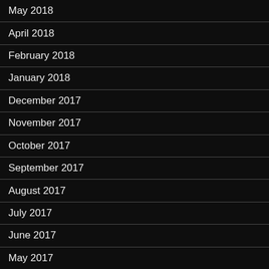May 2018
April 2018
February 2018
January 2018
December 2017
November 2017
October 2017
September 2017
August 2017
July 2017
June 2017
May 2017